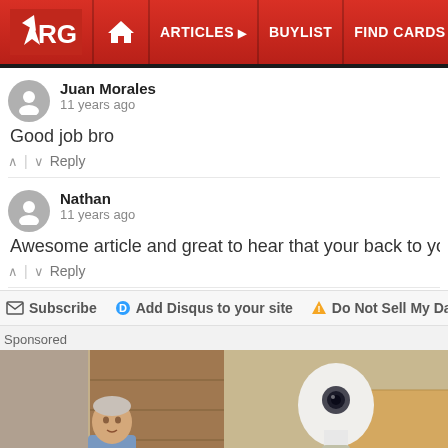ARG | ARTICLES | BUYLIST | FIND CARDS | EVENTS
Juan Morales
11 years ago
Good job bro
↑ | ↓  Reply
Nathan
11 years ago
Awesome article and great to hear that your back to youtubing as we
↑ | ↓  Reply
✉ Subscribe   D Add Disqus to your site   ⚠ Do Not Sell My Data
Sponsored
[Figure (photo): Sponsored ad image: older man in blue shirt standing outside near wooden structure]
[Figure (photo): Sponsored ad image: hand holding a white smart light bulb with metal base]